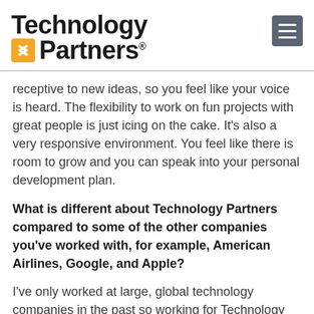[Figure (logo): Technology Partners logo with yellow arrow icon]
receptive to new ideas, so you feel like your voice is heard. The flexibility to work on fun projects with great people is just icing on the cake. It's also a very responsive environment. You feel like there is room to grow and you can speak into your personal development plan.
What is different about Technology Partners compared to some of the other companies you've worked with, for example, American Airlines, Google, and Apple?
I've only worked at large, global technology companies in the past so working for Technology Partners has been extremely rewarding. Our team